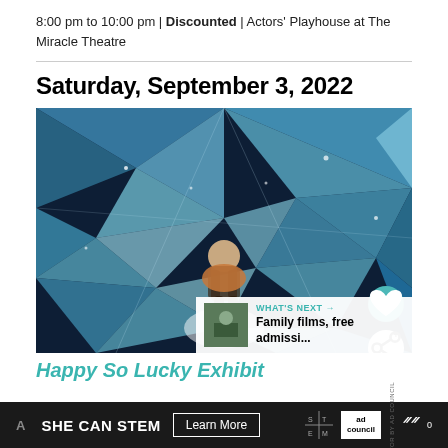8:00 pm to 10:00 pm | Discounted | Actors' Playhouse at The Miracle Theatre
Saturday, September 3, 2022
[Figure (photo): A woman sitting amid a dazzling kaleidoscopic mirror installation with blue crystalline reflections surrounding her]
Happy So Lucky Exhibit
SHE CAN STEM  Learn More